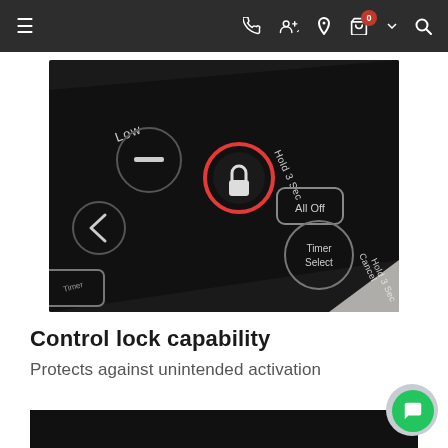Navigation bar with menu, phone, account, location, cart (0), and search icons
[Figure (photo): Close-up photo of a black appliance control panel showing buttons labeled 'Low', a lock icon with 'Hold 3 Sec', 'All Off', 'Timer Select', and 'Cancel Hold 3 Sec'. The lock button is highlighted with a red circular ring.]
Control lock capability
Protects against unintended activation
[Figure (photo): Partial view of a black surface at bottom of page]